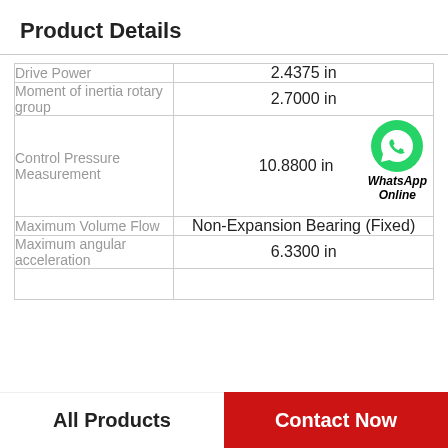Product Details
|  |  |
| --- | --- |
| Drive Power | 2.4375 in |
| Moment of inertia rotary group | 2.7000 in |
| Control Pressure Measurement | 10.8800 in |
| Maximum Volume Flow | Non-Expansion Bearing (Fixed) |
| Maximum angular acceleration | 6.3300 in |
WhatsApp Online
All Products
Contact Now